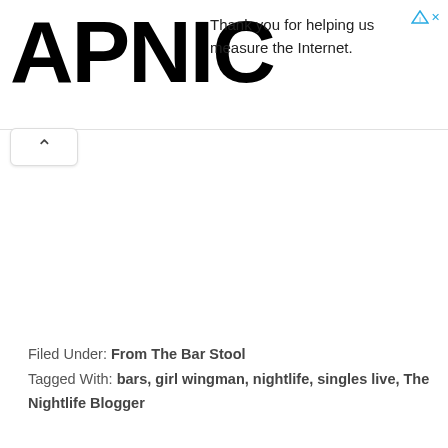APNIC — Thank you for helping us measure the Internet.
Filed Under: From The Bar Stool
Tagged With: bars, girl wingman, nightlife, singles live, The Nightlife Blogger